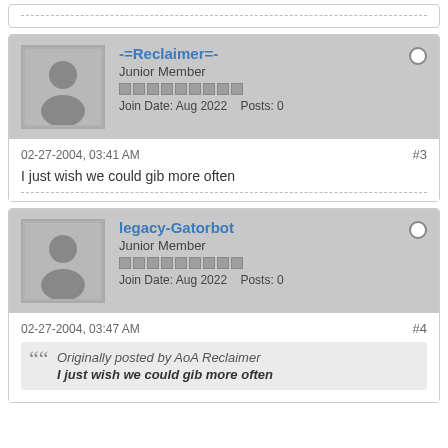(stub/previous post divider)
-=Reclaimer=- | Junior Member | Join Date: Aug 2022 | Posts: 0
02-27-2004, 03:41 AM  #3
I just wish we could gib more often
legacy-Gatorbot | Junior Member | Join Date: Aug 2022 | Posts: 0
02-27-2004, 03:47 AM  #4
Originally posted by AoA Reclaimer
I just wish we could gib more often